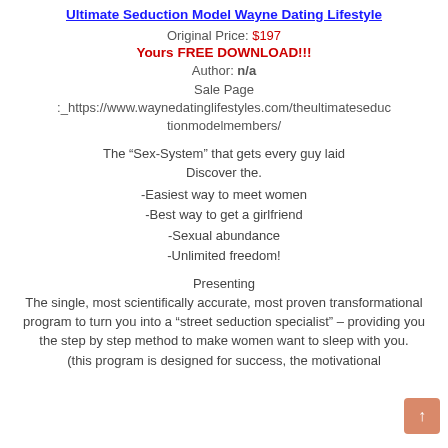Ultimate Seduction Model Wayne Dating Lifestyle
Original Price: $197
Yours FREE DOWNLOAD!!!
Author: n/a
Sale Page :_https://www.waynedatinglifestyles.com/theultimateseductionmodelmembers/
The “Sex-System” that gets every guy laid
Discover the.
-Easiest way to meet women
-Best way to get a girlfriend
-Sexual abundance
-Unlimited freedom!
Presenting
The single, most scientifically accurate, most proven transformational program to turn you into a “street seduction specialist” – providing you the step by step method to make women want to sleep with you.
(this program is designed for success, the motivational